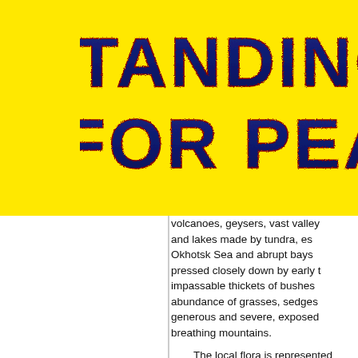STANDING FOR PEACE
volcanoes, geysers, vast valleys and lakes made by tundra, es Okhotsk Sea and abrupt bays pressed closely down by early t impassable thickets of bushes abundance of grasses, sedges generous and severe, exposed breathing mountains.

The local flora is represented (up to 3-3.5 m) and vertical ve the foot to the top of mountain Birch), ash-tree, cedar and alde coastal zones. There are a lo bilberry, blue bilberry, mountain